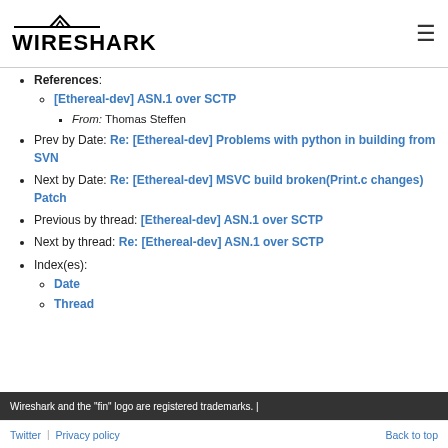Wireshark logo and navigation header
References:
[Ethereal-dev] ASN.1 over SCTP
From: Thomas Steffen
Prev by Date: Re: [Ethereal-dev] Problems with python in building from SVN
Next by Date: Re: [Ethereal-dev] MSVC build broken(Print.c changes) Patch
Previous by thread: [Ethereal-dev] ASN.1 over SCTP
Next by thread: Re: [Ethereal-dev] ASN.1 over SCTP
Index(es):
Date
Thread
Wireshark and the "fin" logo are registered trademarks.
Twitter | Privacy policy | Back to top